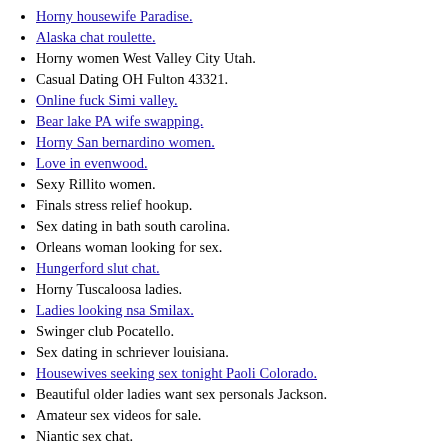Horny housewife Paradise.
Alaska chat roulette.
Horny women West Valley City Utah.
Casual Dating OH Fulton 43321.
Online fuck Simi valley.
Bear lake PA wife swapping.
Horny San bernardino women.
Love in evenwood.
Sexy Rillito women.
Finals stress relief hookup.
Sex dating in bath south carolina.
Orleans woman looking for sex.
Hungerford slut chat.
Horny Tuscaloosa ladies.
Ladies looking nsa Smilax.
Swinger club Pocatello.
Sex dating in schriever louisiana.
Housewives seeking sex tonight Paoli Colorado.
Beautiful older ladies want sex personals Jackson.
Amateur sex videos for sale.
Niantic sex chat.
Strapon personals in west Colombo.
Adult seeking real sex NC Robbins